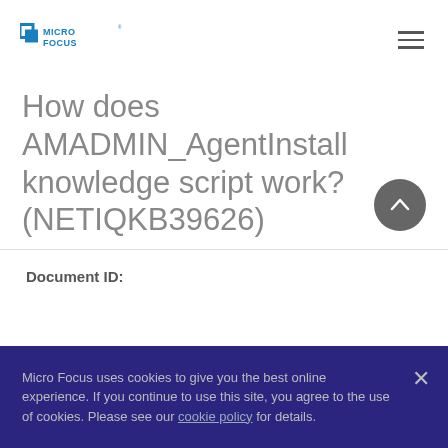Micro Focus logo and navigation menu
How does AMADMIN_AgentInstall knowledge script work? (NETIQKB39626)
Document ID:
Micro Focus uses cookies to give you the best online experience. If you continue to use this site, you agree to the use of cookies. Please see our cookie policy for details.